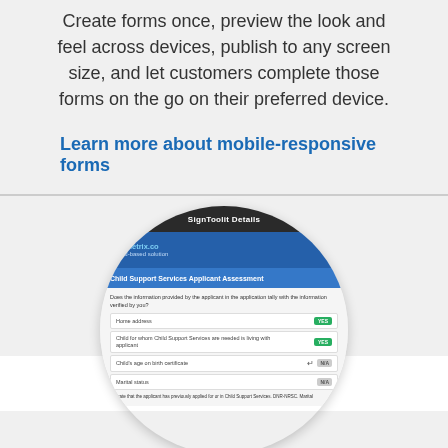Create forms once, preview the look and feel across devices, publish to any screen size, and let customers complete those forms on the go on their preferred device.
Learn more about mobile-responsive forms
[Figure (screenshot): Circular cropped screenshot of a web form titled 'Child Support Services Applicant Assessment' showing form fields with Yes/No toggle buttons and form questions about applicant information]